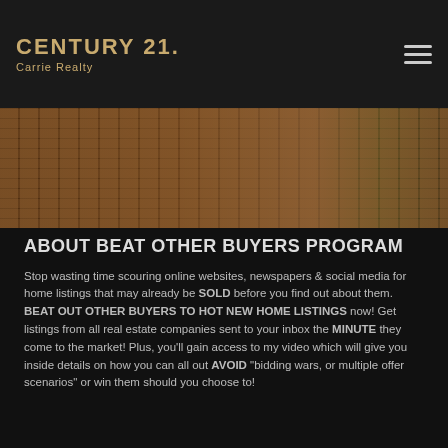CENTURY 21. Carrie Realty
[Figure (photo): Outdoor brick pathway and white post/sign, partial view, dark background]
ABOUT BEAT OTHER BUYERS PROGRAM
Stop wasting time scouring online websites, newspapers & social media for home listings that may already be SOLD before you find out about them. BEAT OUT OTHER BUYERS TO HOT NEW HOME LISTINGS now! Get listings from all real estate companies sent to your inbox the MINUTE they come to the market! Plus, you'll gain access to my video which will give you inside details on how you can all out AVOID "bidding wars, or multiple offer scenarios" or win them should you choose to!